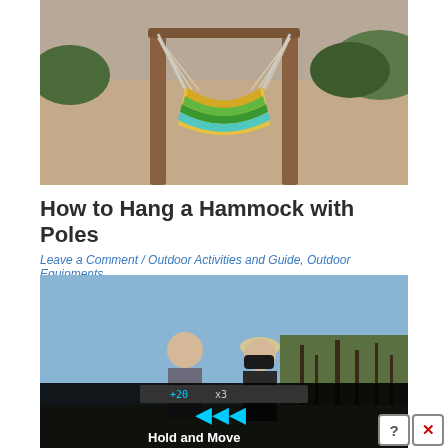[Figure (photo): A colorful fabric hammock suspended on wooden poles in an outdoor sandy area with greenery in the background. The hammock has yellow, green, and teal striped fabric.]
How to Hang a Hammock with Poles
Leave a Comment / Outdoor Activities and Guide, Outdoor Equipments
[Figure (photo): Two people outdoors, one using binoculars, with bare winter trees in the background and a blue sky. An advertisement overlay at the bottom shows a 'Hold and Move' prompt with blue icons and a dark background, with a close button and help/close buttons in the corner.]